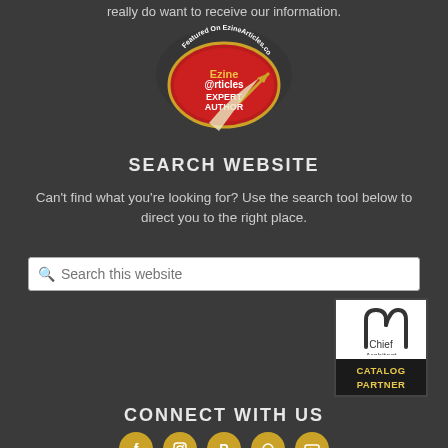really do want to receive our information.
[Figure (logo): EzineArticles.com Featured Expert Author badge - red and gold circular badge with pen]
SEARCH WEBSITE
Can't find what you're looking for? Use the search tool below to direct you to the right place.
[Figure (screenshot): Search bar with placeholder text 'Search this website']
[Figure (logo): Chief Architect Catalog Partner badge - black and white logo with geometric arch shape]
CONNECT WITH US
[Figure (infographic): Social media icons: Facebook, Instagram, Pinterest, an unidentified icon, YouTube - all in gold/yellow circles]